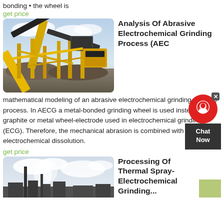bonding • the wheel is
get price
[Figure (photo): Yellow industrial mining/crushing machinery with conveyor belts outdoors]
Analysis Of Abrasive Electrochemical Grinding Process (AEC
mathematical modeling of an abrasive electrochemical grinding (AECG) process. In AECG a metal-bonded grinding wheel is used instead of a graphite or metal wheel-electrode used in electrochemical grinding (ECG). Therefore, the mechanical abrasion is combined with the electrochemical dissolution.
get price
[Figure (photo): Industrial processing equipment with steam/smoke and cloudy sky]
Processing Of Thermal Spray-Electrochemical Grinding...